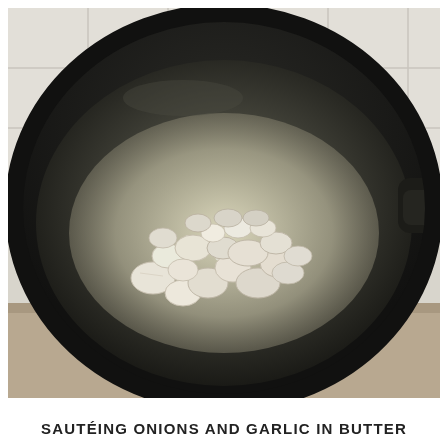[Figure (photo): A black non-stick wok/pan on a stove with diced onions and garlic sautéing in bubbling butter. White tiled kitchen wall visible in background.]
SAUTÉING ONIONS AND GARLIC IN BUTTER